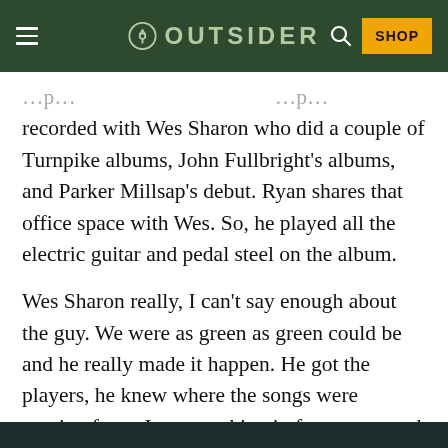OUTSIDER
recorded with Wes Sharon who did a couple of Turnpike albums, John Fullbright’s albums, and Parker Millsap’s debut. Ryan shares that office space with Wes. So, he played all the electric guitar and pedal steel on the album.
Wes Sharon really, I can’t say enough about the guy. We were as green as green could be and he really made it happen. He got the players, he knew where the songs were coming from. I was working in foster care and Margret